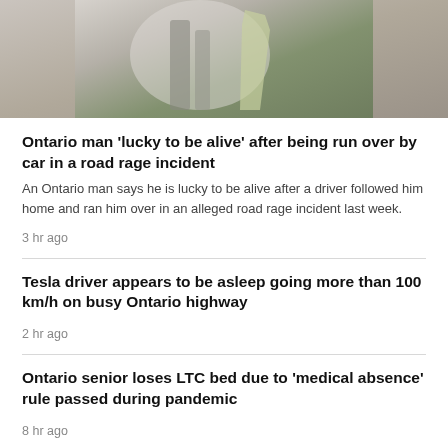[Figure (photo): Top portion of a news article photo showing a person holding an object, partially cropped]
Ontario man 'lucky to be alive' after being run over by car in a road rage incident
An Ontario man says he is lucky to be alive after a driver followed him home and ran him over in an alleged road rage incident last week.
3 hr ago
Tesla driver appears to be asleep going more than 100 km/h on busy Ontario highway
2 hr ago
Ontario senior loses LTC bed due to 'medical absence' rule passed during pandemic
8 hr ago